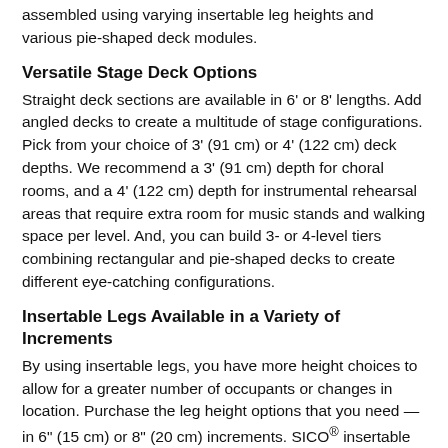assembled using varying insertable leg heights and various pie-shaped deck modules.
Versatile Stage Deck Options
Straight deck sections are available in 6' or 8' lengths. Add angled decks to create a multitude of stage configurations. Pick from your choice of 3' (91 cm) or 4' (122 cm) deck depths. We recommend a 3' (91 cm) depth for choral rooms, and a 4' (122 cm) depth for instrumental rehearsal areas that require extra room for music stands and walking space per level. And, you can build 3- or 4-level tiers combining rectangular and pie-shaped decks to create different eye-catching configurations.
Insertable Legs Available in a Variety of Increments
By using insertable legs, you have more height choices to allow for a greater number of occupants or changes in location. Purchase the leg height options that you need — in 6" (15 cm) or 8" (20 cm) increments. SICO® insertable legs are available in heights of 6", 8", 12", 16", 18", and 24" (15 cm, 20 cm, 30 cm, 40 cm, 46 cm and 61 cm), allowing you to configure the riser set that best meets your performance demands.